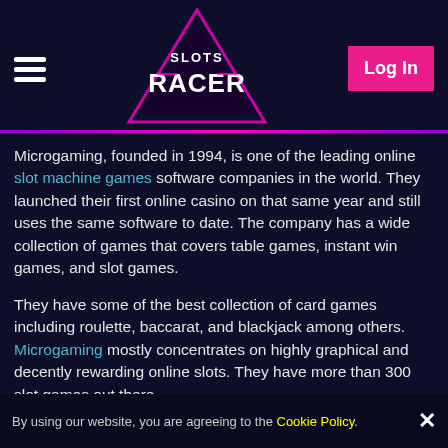Slots Racer — navigation header with hamburger menu and Log In button
Microgaming, founded in 1994, is one of the leading online slot machine games software companies in the world. They launched their first online casino on that same year and still uses the same software to date. The company has a wide collection of games that covers table games, instant win games, and slot games.
They have some of the best collection of card games including roulette, baccarat, and blackjack among others. Microgaming mostly concentrates on highly graphical and decently rewarding online slots. They have more than 300 slot games out there.
Their slots can be played in over 120 online casinos globally with the top 40 poker rooms in the world also using their unique casino software. This counts as one of the reasons why Microgaming has been able to offer a number of huge progressive jackpots.
By using our website, you are agreeing to the Cookie Policy. ×